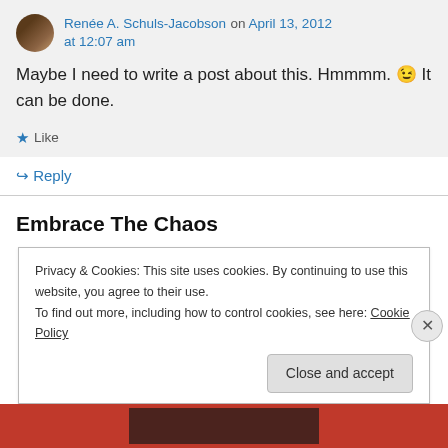Renée A. Schuls-Jacobson on April 13, 2012 at 12:07 am
Maybe I need to write a post about this. Hmmmm. 😉 It can be done.
★ Like
↪ Reply
Embrace The Chaos
Privacy & Cookies: This site uses cookies. By continuing to use this website, you agree to their use.
To find out more, including how to control cookies, see here: Cookie Policy
Close and accept